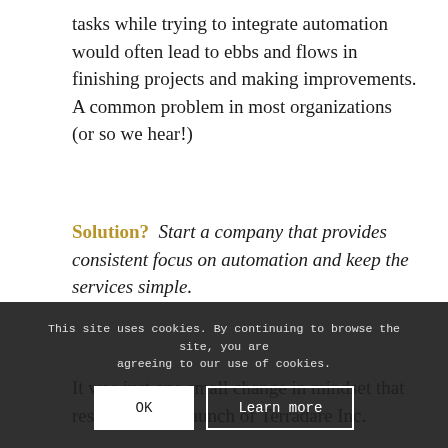tasks while trying to integrate automation would often lead to ebbs and flows in finishing projects and making improvements. A common problem in most organizations (or so we hear!)
Solution? Start a company that provides consistent focus on automation and keep the services simple.
It was just one small change in mindset that resulted in the launch of Terradare Inc.
As an organization, Terradare is focused on supporting its' clients with iterative automation solutions as a means of providing consistency and a simple approach to making changes that are the least disruptive.
Ask yourself how that is working for you, when you can spend less time and money by
This site uses cookies. By continuing to browse the site, you are agreeing to our use of cookies.